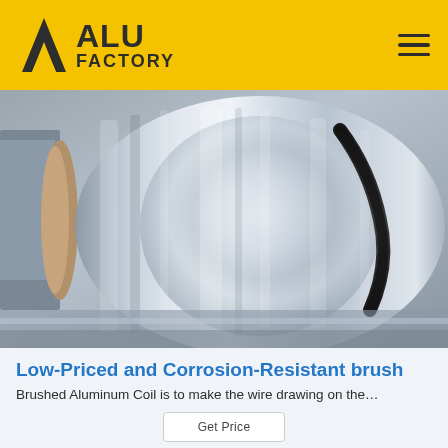ALU FACTORY
[Figure (photo): Large shiny aluminum coil/roll being processed on industrial machinery, metallic silver surface with reflections]
Low-Priced and Corrosion-Resistant brush
Brushed Aluminum Coil is to make the wire drawing on the…
Get Price